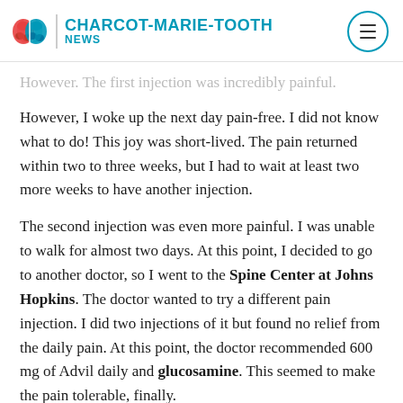CHARCOT-MARIE-TOOTH NEWS
However. The first injection was incredibly painful. However, I woke up the next day pain-free. I did not know what to do! This joy was short-lived. The pain returned within two to three weeks, but I had to wait at least two more weeks to have another injection.
The second injection was even more painful. I was unable to walk for almost two days. At this point, I decided to go to another doctor, so I went to the Spine Center at Johns Hopkins. The doctor wanted to try a different pain injection. I did two injections of it but found no relief from the daily pain. At this point, the doctor recommended 600 mg of Advil daily and glucosamine. This seemed to make the pain tolerable, finally.
The pain is manageable most days now. I try to